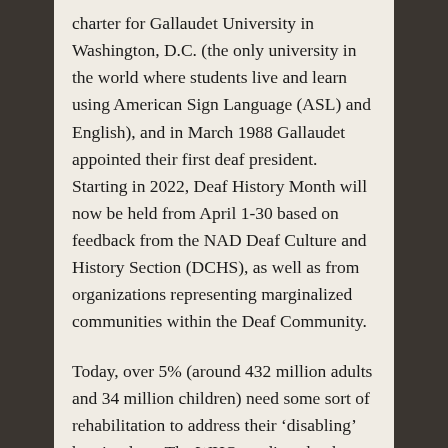charter for Gallaudet University in Washington, D.C. (the only university in the world where students live and learn using American Sign Language (ASL) and English), and in March 1988 Gallaudet appointed their first deaf president. Starting in 2022, Deaf History Month will now be held from April 1-30 based on feedback from the NAD Deaf Culture and History Section (DCHS), as well as from organizations representing marginalized communities within the Deaf Community.
Today, over 5% (around 432 million adults and 34 million children) need some sort of rehabilitation to address their ‘disabling’ hearing loss. The WHO predicts that by 2050, there will be around 700 million people that have some form of disabling hearing loss. Around 11.5 million Americans or